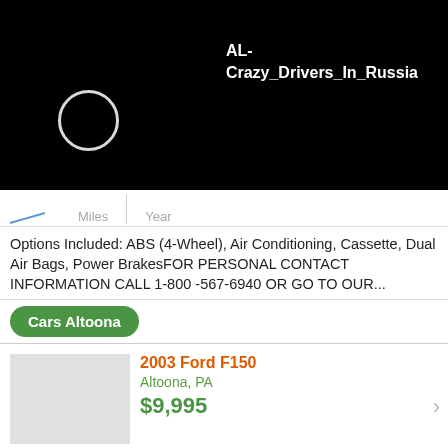[Figure (screenshot): Black banner with white circle icon and text 'AL-Crazy_Drivers_In_Russia']
Miles | Year
Options Included: ABS (4-Wheel), Air Conditioning, Cassette, Dual Air Bags, Power BrakesFOR PERSONAL CONTACT INFORMATION CALL 1-800 -567-6940 OR GO TO OUR...
Cars Altoona
2003 Ford F150
Altoona, PA
$9,995
120 000 - 129 999 Miles | 2003 Year
Options Included: ABS (4-Wheel), Air Conditioning, Cassette, Dual Air Bags, Power Brakes1 owner.......... FOR PERSONAL CONTACT INFORMATION CALL 1-800...
Cars Alt...